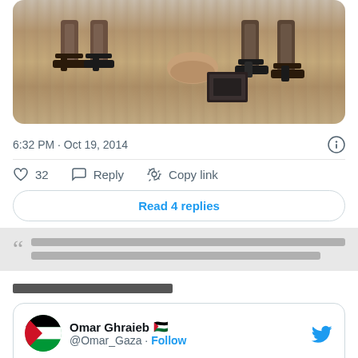[Figure (photo): Flood photo showing people wading through muddy brown water, visible from knees/feet down wearing sandals]
6:32 PM · Oct 19, 2014
32  Reply  Copy link
Read 4 replies
[quoted tweet text blocks in Thai/CJK script]
[Thai/CJK text line]
Omar Ghraieb 🇵🇸 @Omar_Gaza · Follow
#Photo: Despite destruction, a rainbow